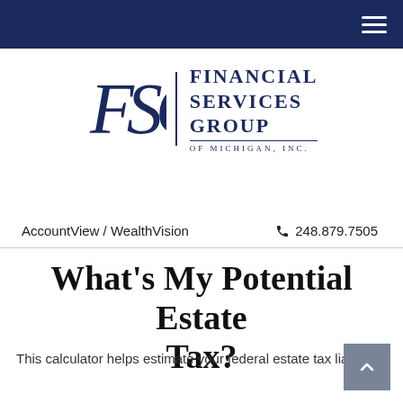Financial Services Group of Michigan, Inc. — navigation bar
[Figure (logo): Financial Services Group of Michigan, Inc. logo with stylized FSG monogram and company name in navy blue]
AccountView / WealthVision   📞 248.879.7505
What's My Potential Estate Tax?
This calculator helps estimate your federal estate tax liability.